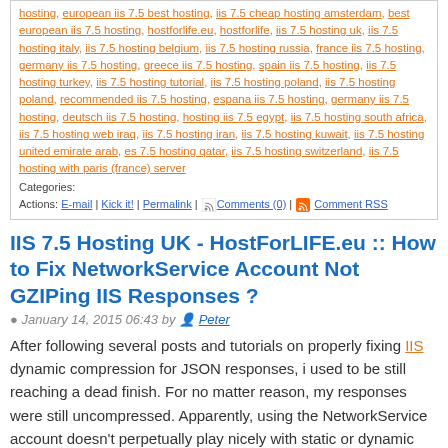hosting, european iis 7.5 best hosting, iis 7.5 cheap hosting amsterdam, best european iis 7.5 hosting, hostforlife.eu, hostforlife, iis 7.5 hosting uk, iis 7.5 hosting italy, iis 7.5 hosting belgium, iis 7.5 hosting russia, france iis 7.5 hosting, germany iis 7.5 hosting, greece iis 7.5 hosting, spain iis 7.5 hosting, iis 7.5 hosting turkey, iis 7.5 hosting tutorial, iis 7.5 hosting poland, iis 7.5 hosting poland, recommended iis 7.5 hosting, espana iis 7.5 hosting, germany iis 7.5 hosting, deutsch iis 7.5 hosting, hosting iis 7.5 egypt, iis 7.5 hosting south africa, iis 7.5 hosting web iraq, iis 7.5 hosting iran, iis 7.5 hosting kuwait, iis 7.5 hosting united emirate arab, es 7.5 hosting qatar, iis 7.5 hosting switzerland, iis 7.5 hosting with paris (france) server
Categories:
Actions: E-mail | Kick it! | Permalink | Comments (0) | Comment RSS
IIS 7.5 Hosting UK - HostForLIFE.eu :: How to Fix NetworkService Account Not GZIPing IIS Responses ?
January 14, 2015 06:43 by Peter
After following several posts and tutorials on properly fixing IIS dynamic compression for JSON responses, i used to be still reaching a dead finish. For no matter reason, my responses were still uncompressed. Apparently, using the NetworkService account doesn't perpetually play nicely with static or dynamic content compression.
[Figure (photo): HostForLIFE.eu banner with cloud logo and person silhouette on dark/wood background]